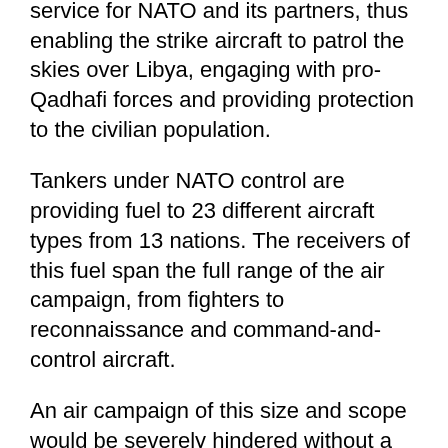service for NATO and its partners, thus enabling the strike aircraft to patrol the skies over Libya, engaging with pro-Qadhafi forces and providing protection to the civilian population.
Tankers under NATO control are providing fuel to 23 different aircraft types from 13 nations. The receivers of this fuel span the full range of the air campaign, from fighters to reconnaissance and command-and-control aircraft.
An air campaign of this size and scope would be severely hindered without a robust air-to-air refuelling operations and ours involve between 35 and 40 sorties every day.
It is challenging to orchestrate the multi-national tanker aircraft to refuel the multi-national receiver aircraft, but NATO and its partners are doing it daily. Recently, the United States offered additional tanker aircraft to NATO, allowing NATO to effectively increase its on station times for strike aircraft by about 30